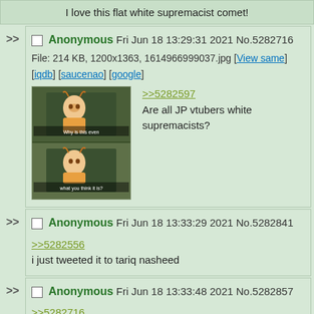I love this flat white supremacist comet!
Anonymous Fri Jun 18 13:29:31 2021 No.5282716
File: 214 KB, 1200x1363, 1614966999037.jpg [View same] [iqdb] [saucenao] [google]
>>5282597
Are all JP vtubers white supremacists?
Anonymous Fri Jun 18 13:33:29 2021 No.5282841
>>5282556
i just tweeted it to tariq nasheed
Anonymous Fri Jun 18 13:33:48 2021 No.5282857
>>5282716
Hololive is truly our only hope for white birthrates
Anonymous Fri Jun 18 13:33:56 2021 No.5282865